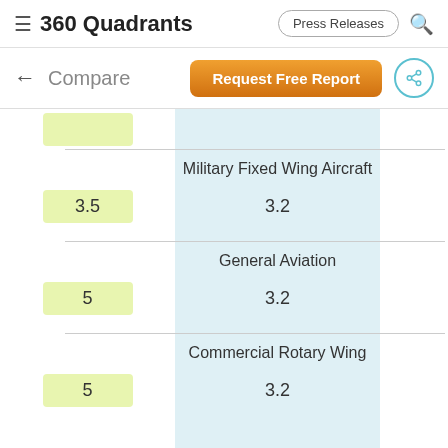≡ 360 Quadrants  Press Releases 🔍
← Compare  Request Free Report  ⤢
| Score (left) | Category | Score (right) |
| --- | --- | --- |
| 3.5 | Military Fixed Wing Aircraft | 3.2 |
| 5 | General Aviation | 3.2 |
| 5 | Commercial Rotary Wing | 3.2 |